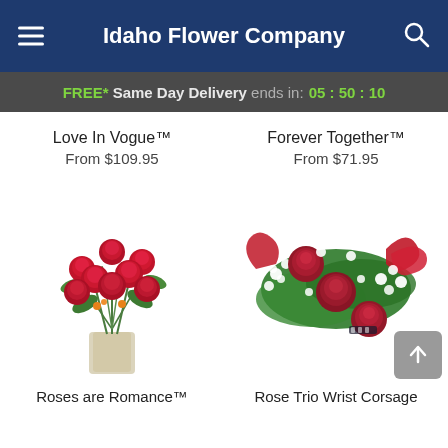Idaho Flower Company
FREE* Same Day Delivery ends in: 05 : 50 : 10
Love In Vogue™
From $109.95
Forever Together™
From $71.95
[Figure (photo): Bouquet of red roses in a glass vase with greenery - Roses are Romance]
[Figure (photo): Rose Trio Wrist Corsage with red roses, baby's breath and green leaves on white background]
Roses are Romance™
Rose Trio Wrist Corsage